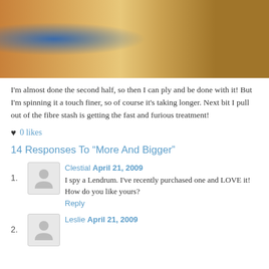[Figure (photo): Close-up photo of spinning wheel equipment (Lendrum), showing wooden parts and metal hardware against a blurred background]
I'm almost done the second half, so then I can ply and be done with it! But I'm spinning it a touch finer, so of course it's taking longer. Next bit I pull out of the fibre stash is getting the fast and furious treatment!
♥ 0 likes
14 Responses To “More And Bigger”
1. Clestial April 21, 2009 — I spy a Lendrum. I've recently purchased one and LOVE it! How do you like yours? Reply
2. Leslie April 21, 2009